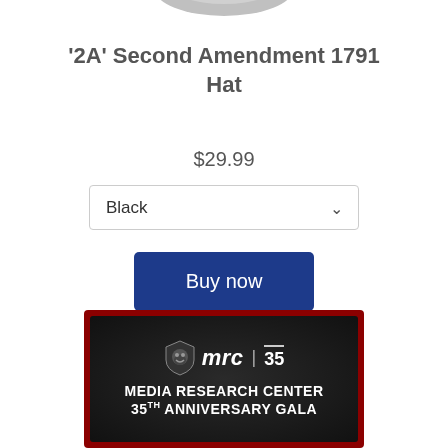[Figure (photo): Partial view of a hat product image cropped at top of page]
'2A' Second Amendment 1791 Hat
$29.99
Black (dropdown selector)
Buy now
[Figure (logo): Media Research Center 35th Anniversary Gala advertisement banner with MRC logo and bulldog shield icon on dark textured background with red border]